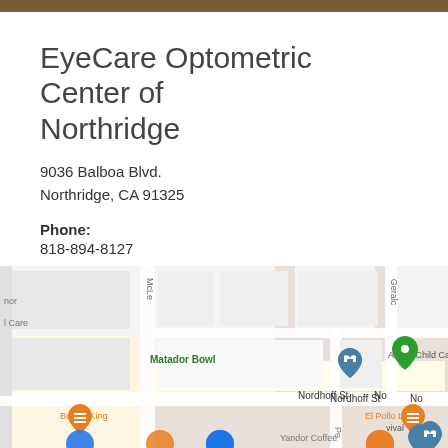EyeCare Optometric Center of Northridge
9036 Balboa Blvd.
Northridge, CA 91325
Phone:
818-894-8127
Fax:
818-894-8120
[Figure (map): Google Maps screenshot showing the area near 9036 Balboa Blvd, Northridge CA. Visible landmarks include Matador Bowl, ALISA Child Care, Burger King, El Pollo Loco, Nordhoff St. Map pins in green, orange, and teal are visible.]